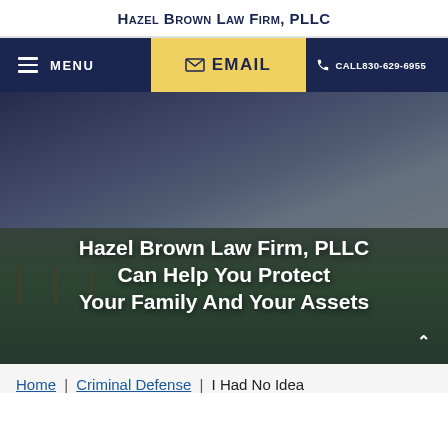Hazel Brown Law Firm, PLLC
[Figure (screenshot): Navigation bar with menu (hamburger icon + MENU), EMAIL (in yellow highlight), and CALL 830-629-6955 with phone icon on dark navy background]
[Figure (photo): Hero background photo of a rural countryside with fence, green fields, and dramatic cloudy sky. Overlaid text: 'Hazel Brown Law Firm, PLLC Can Help You Protect Your Family And Your Assets'. Chevron/caret up arrow at bottom right.]
Home | Criminal Defense | I Had No Idea